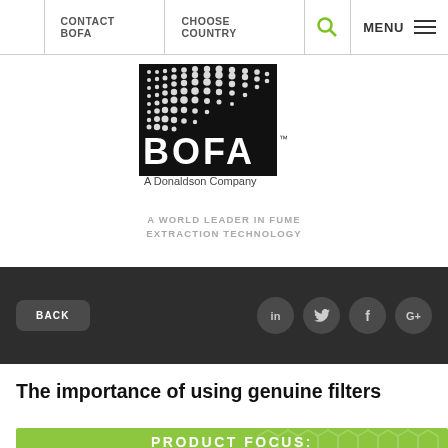CONTACT BOFA | CHOOSE COUNTRY | MENU
[Figure (logo): BOFA International logo — black square with dot-matrix wave pattern above, BOFA text large, A Donaldson Company below]
A WORLD LEADER IN FUME EXTRACTION TECHNOLOGY
BACK
The importance of using genuine filters
[Figure (other): Green banner partially visible at bottom with text PRODUCT FOCUS: and hexagon pattern overlay]